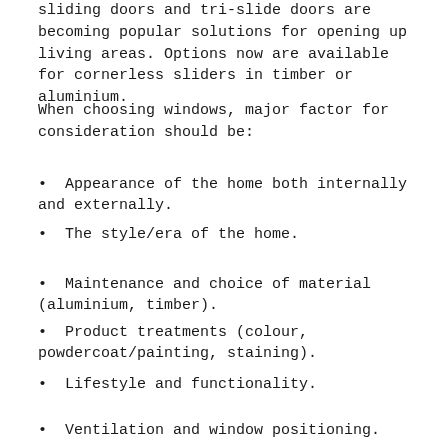sliding doors and tri-slide doors are becoming popular solutions for opening up living areas. Options now are available for cornerless sliders in timber or aluminium.
When choosing windows, major factor for consideration should be:
Appearance of the home both internally and externally.
The style/era of the home.
Maintenance and choice of material (aluminium, timber).
Product treatments (colour, powdercoat/painting, staining).
Lifestyle and functionality.
Ventilation and window positioning.